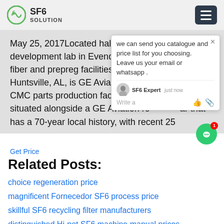SF6 SOLUTION
May 25, 2017Located halfway between the CMC development lab in Evendale, OH and the CMC fiber and prepreg facilities under construction in Huntsville, AL, is GE Aviation's new on CMC parts production facility in Ash s situated alongside a GE Aviation ro ar that has a 70-year local history, with recent 25
[Figure (screenshot): Chat popup overlay with message: we can send you catalogue and price list for you choosing. Leave us your email or whatsapp. SF6 Expert just now. Write a [thumbs up] [paperclip icons]. Green chat bubble button with badge 1.]
Get Price
Related Posts:
choice regeneration price
magnificent Fornecedor SF6 process price
skillful SF6 recycling filter manufacturers
distinguished Hi-pot SF6 machine manual prices
foremost Equipo SF6 rate pricing